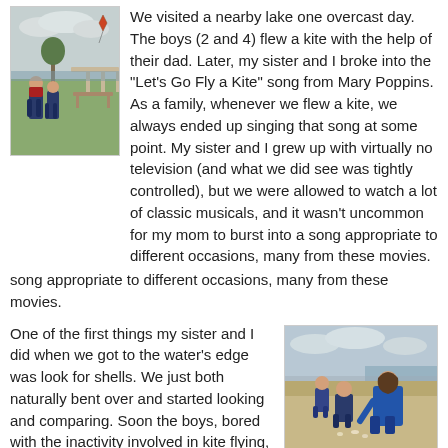[Figure (photo): Two young boys standing at a park bench or fence near a lake on an overcast day, with a kite visible in the sky above.]
We visited a nearby lake one overcast day. The boys (2 and 4) flew a kite with the help of their dad. Later, my sister and I broke into the "Let's Go Fly a Kite" song from Mary Poppins. As a family, whenever we flew a kite, we always ended up singing that song at some point. My sister and I grew up with virtually no television (and what we did see was tightly controlled), but we were allowed to watch a lot of classic musicals, and it wasn't uncommon for my mom to burst into a song appropriate to different occasions, many from these movies.
One of the first things my sister and I did when we got to the water's edge was look for shells. We just both naturally bent over and started looking and comparing. Soon the boys, bored with the inactivity involved in kite flying, came over to join us and started looking, too.
[Figure (photo): A woman and two young boys crouching on a sandy shoreline, looking at shells near the water's edge.]